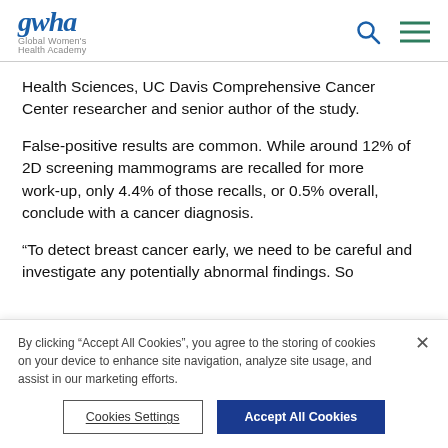gwha Global Women's Health Academy
Health Sciences, UC Davis Comprehensive Cancer Center researcher and senior author of the study.
False-positive results are common. While around 12% of 2D screening mammograms are recalled for more work-up, only 4.4% of those recalls, or 0.5% overall, conclude with a cancer diagnosis.
“To detect breast cancer early, we need to be careful and investigate any potentially abnormal findings. So
By clicking “Accept All Cookies”, you agree to the storing of cookies on your device to enhance site navigation, analyze site usage, and assist in our marketing efforts.
Cookies Settings
Accept All Cookies